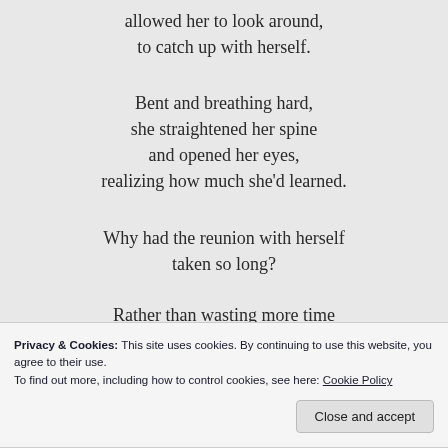allowed her to look around,
to catch up with herself.

Bent and breathing hard,
she straightened her spine
and opened her eyes,
realizing how much she'd learned.

Why had the reunion with herself
taken so long?
Rather than wasting more time
Privacy & Cookies: This site uses cookies. By continuing to use this website, you agree to their use.
To find out more, including how to control cookies, see here: Cookie Policy
Close and accept